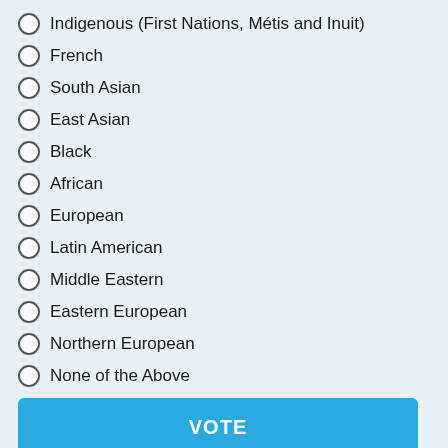Indigenous (First Nations, Métis and Inuit)
French
South Asian
East Asian
Black
African
European
Latin American
Middle Eastern
Eastern European
Northern European
None of the Above
VOTE
RESULTS >
ARCHIVES >
[Figure (photo): Advertisement banner: sunset travel photo with text DISCOVER AMAZING TRAVEL SIDESTAGE.COM]